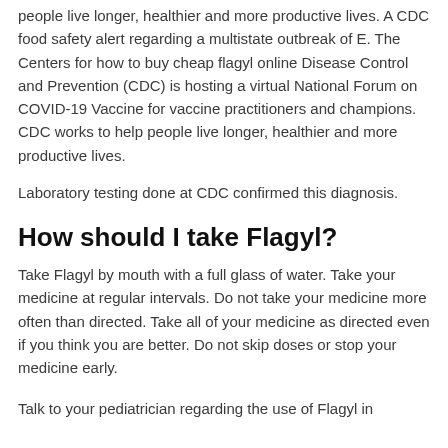people live longer, healthier and more productive lives. A CDC food safety alert regarding a multistate outbreak of E. The Centers for how to buy cheap flagyl online Disease Control and Prevention (CDC) is hosting a virtual National Forum on COVID-19 Vaccine for vaccine practitioners and champions. CDC works to help people live longer, healthier and more productive lives.
Laboratory testing done at CDC confirmed this diagnosis.
How should I take Flagyl?
Take Flagyl by mouth with a full glass of water. Take your medicine at regular intervals. Do not take your medicine more often than directed. Take all of your medicine as directed even if you think you are better. Do not skip doses or stop your medicine early.
Talk to your pediatrician regarding the use of Flagyl in